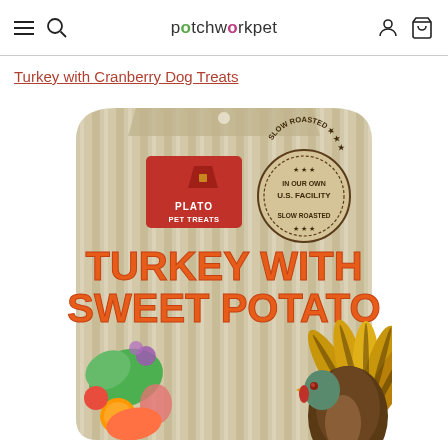patchworkpet — navigation bar with hamburger menu, search, user account, and cart icons
Turkey with Cranberry Dog Treats
[Figure (photo): Product photo of Plato Pet Treats Turkey with Sweet Potato dog treats bag. The bag has a beige/tan striped background with a red Plato Pet Treats logo box featuring a silhouette icon, a circular stamp reading 'Slow Roasted In Our Own U.S. Facility', bold orange text reading 'TURKEY WITH SWEET POTATO', and illustrated turkey bird with vegetables (cranberry, sweet potato, greens) at the bottom.]